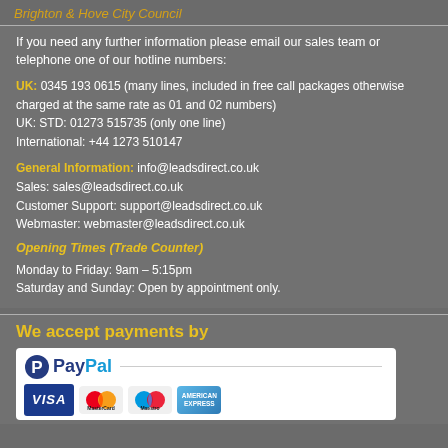Brighton & Hove City Council
If you need any further information please email our sales team or telephone one of our hotline numbers:
UK: 0345 193 0615 (many lines, included in free call packages otherwise charged at the same rate as 01 and 02 numbers)
UK: STD: 01273 515735 (only one line)
International: +44 1273 510147
General Information: info@leadsdirect.co.uk
Sales: sales@leadsdirect.co.uk
Customer Support: support@leadsdirect.co.uk
Webmaster: webmaster@leadsdirect.co.uk
Opening Times (Trade Counter)
Monday to Friday: 9am – 5:15pm
Saturday and Sunday: Open by appointment only.
We accept payments by
[Figure (logo): PayPal payment logo with credit card logos: VISA, MasterCard, Maestro, American Express]